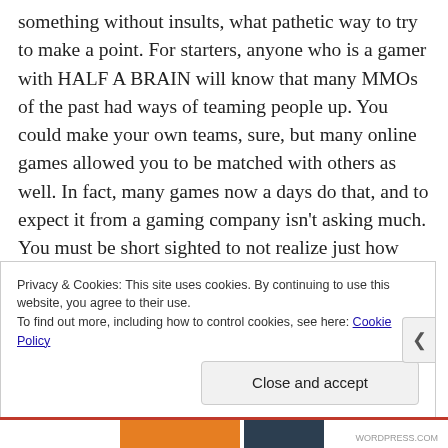something without insults, what pathetic way to try to make a point. For starters, anyone who is a gamer with HALF A BRAIN will know that many MMOs of the past had ways of teaming people up. You could make your own teams, sure, but many online games allowed you to be matched with others as well. In fact, many games now a days do that, and to expect it from a gaming company isn't asking much. You must be short sighted to not realize just how much Bungie has swindled you here on this game. Tell me you are just joking, please. Also, smart guy, the game had a prerelease where you could play before it was done, beta testing basically, and there were no signs of these things in the early access to
Privacy & Cookies: This site uses cookies. By continuing to use this website, you agree to their use.
To find out more, including how to control cookies, see here: Cookie Policy
Close and accept